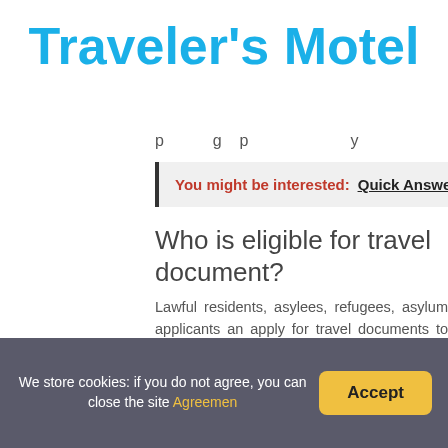Traveler's Motel
p g p y
You might be interested: Quick Answer: Ho
Who is eligible for travel document?
Lawful residents, asylees, refugees, asylum applicants an apply for travel documents to travel internationally and t
What is the difference between passport
The difference between a Passport and a Travel Docu traveler, his/her nationality and necessary authorization being issued in place of Passport especially in situations
We store cookies: if you do not agree, you can close the site Agreemen
Accept